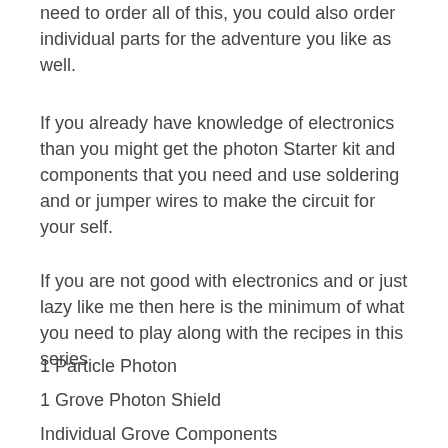need to order all of this, you could also order individual parts for the adventure you like as well.
If you already have knowledge of electronics than you might get the photon Starter kit and components that you need and use soldering and or jumper wires to make the circuit for your self.
If you are not good with electronics and or just lazy like me then here is the minimum of what you need to play along with the recipes in this series
1 Particle Photon
1 Grove Photon Shield
Individual Grove Components